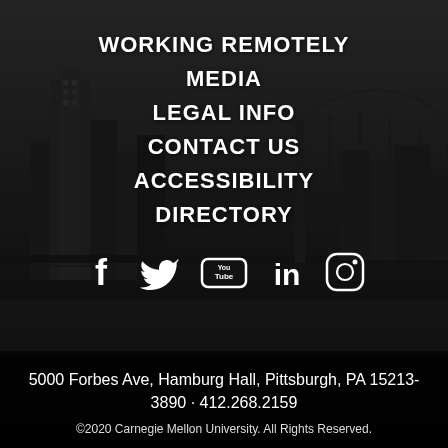[Figure (photo): Dark grayscale cityscape of Pittsburgh with bridge and skyline in background]
WORKING REMOTELY
MEDIA
LEGAL INFO
CONTACT US
ACCESSIBILITY
DIRECTORY
[Figure (other): Social media icons: Facebook, Twitter, YouTube, LinkedIn, Instagram]
5000 Forbes Ave, Hamburg Hall, Pittsburgh, PA 15213-3890 · 412.268.2159
©2020 Carnegie Mellon University. All Rights Reserved.